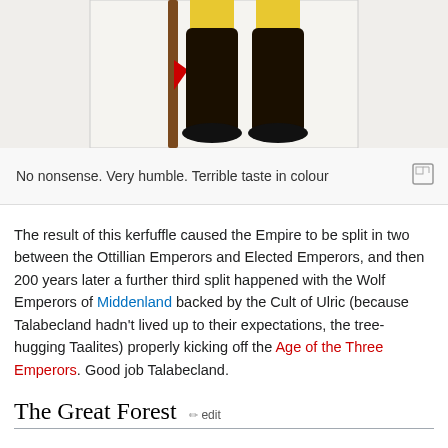[Figure (illustration): Lower half of a character figure showing dark boots, yellow stockings, and a wooden staff with a red element; illustration from a wiki article]
No nonsense. Very humble. Terrible taste in colour
The result of this kerfuffle caused the Empire to be split in two between the Ottillian Emperors and Elected Emperors, and then 200 years later a further third split happened with the Wolf Emperors of Middenland backed by the Cult of Ulric (because Talabecland hadn't lived up to their expectations, the tree-hugging Taalites) properly kicking off the Age of the Three Emperors. Good job Talabecland.
The Great Forest